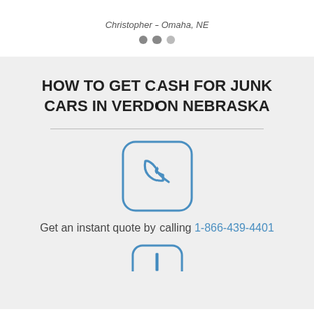Christopher - Omaha, NE
[Figure (illustration): Three gray dots (pagination/carousel indicator)]
HOW TO GET CASH FOR JUNK CARS IN VERDON NEBRASKA
[Figure (illustration): Phone handset icon inside a rounded square border, blue outline style]
Get an instant quote by calling 1-866-439-4401
[Figure (illustration): Partial view of another rounded square icon (info/step icon), blue outline, bottom of page]